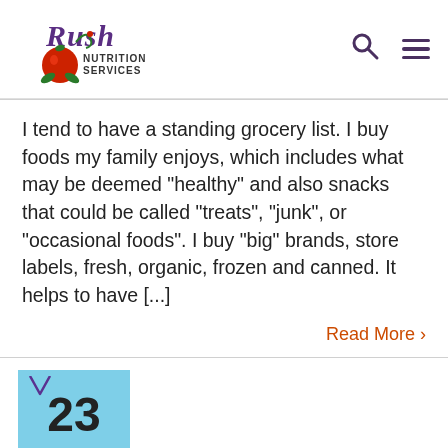[Figure (logo): Rush Nutrition Services logo with script text and tomato graphic]
I tend to have a standing grocery list. I buy foods my family enjoys, which includes what may be deemed "healthy" and also snacks that could be called "treats", "junk", or "occasional foods". I buy "big" brands, store labels, fresh, organic, frozen and canned. It helps to have [...]
Read More >
23